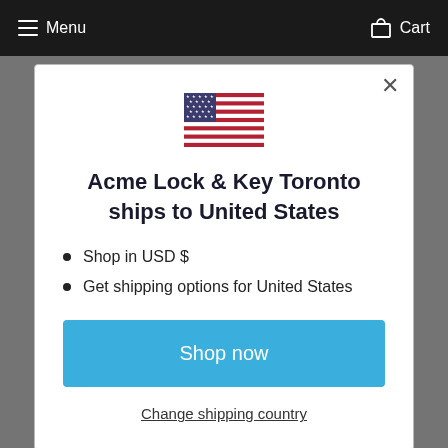Menu  Cart
[Figure (illustration): United States flag emoji/icon]
Acme Lock & Key Toronto ships to United States
Shop in USD $
Get shipping options for United States
Shop now
Change shipping country
Terms of Service